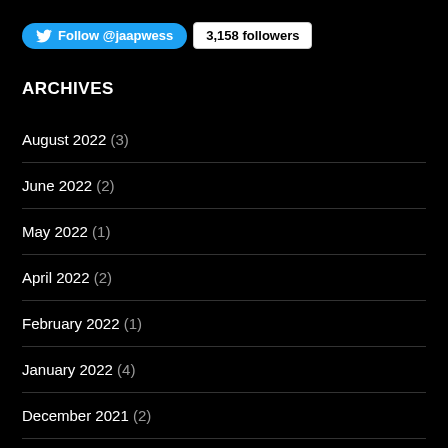[Figure (other): Twitter Follow button for @jaapwess with 3,158 followers count badge]
ARCHIVES
August 2022 (3)
June 2022 (2)
May 2022 (1)
April 2022 (2)
February 2022 (1)
January 2022 (4)
December 2021 (2)
November 2021 (1)